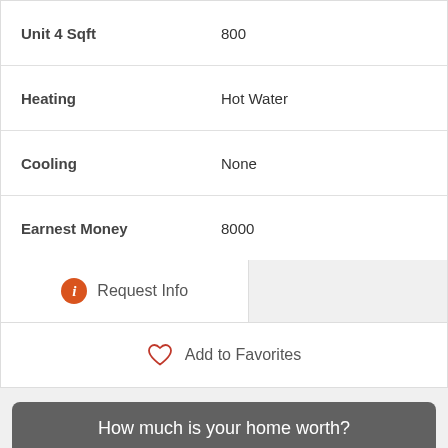| Property | Value |
| --- | --- |
| Unit 4 Sqft | 800 |
| Heating | Hot Water |
| Cooling | None |
| Earnest Money | 8000 |
Request Info
Add to Favorites
How much is your home worth?
...get instant property value now!
e.g. 123 Main St, Woodland Park, CO
Unit #